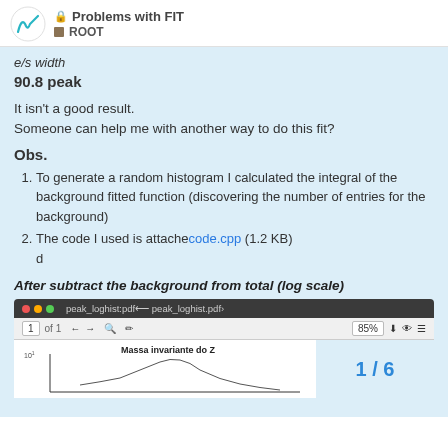Problems with FIT | ROOT
e/s width
90.8 peak
It isn't a good result.
Someone can help me with another way to do this fit?
Obs.
To generate a random histogram I calculated the integral of the background fitted function (discovering the number of entries for the background)
The code I used is attached code.cpp (1.2 KB) d
After subtract the background from total (log scale)
[Figure (screenshot): PDF viewer screenshot showing a histogram titled 'Massa invariante do Z' with toolbar showing peak_loghist.pdf filename, page 1 of 1, 85% zoom]
1 / 6